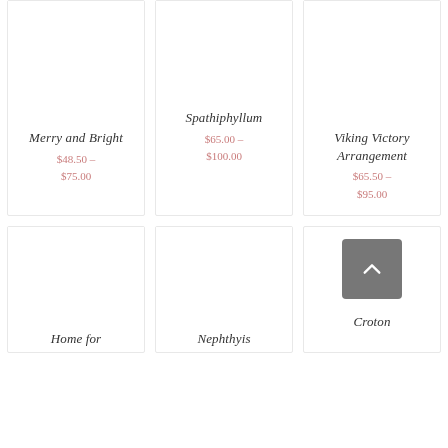Merry and Bright
$48.50 – $75.00
Spathiphyllum
$65.00 – $100.00
Viking Victory Arrangement
$65.50 – $95.00
Home for
Nephthyis
Croton
[Figure (illustration): Back to top arrow button (chevron up icon on dark grey background)]